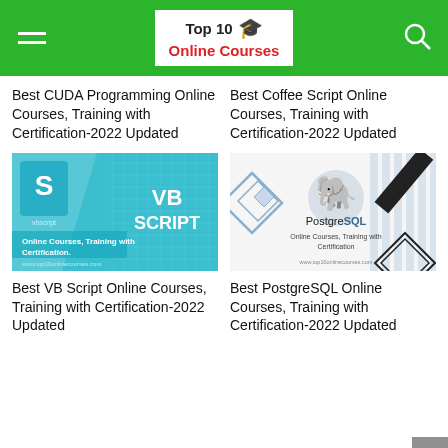Top 10 Online Courses
Best CUDA Programming Online Courses, Training with Certification-2022 Updated
Best Coffee Script Online Courses, Training with Certification-2022 Updated
[Figure (illustration): VB Script online courses thumbnail - blue background with VB SCRIPT text and scroll icon]
[Figure (illustration): PostgreSQL online courses thumbnail - white background with PostgreSQL elephant logo and decorative diamond shapes]
Best VB Script Online Courses, Training with Certification-2022 Updated
Best PostgreSQL Online Courses, Training with Certification-2022 Updated